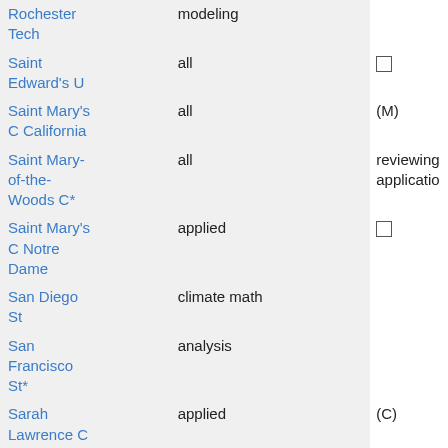| Institution | Focus |  | Notes |
| --- | --- | --- | --- |
| Rochester Tech | modeling |  |  |
| Saint Edward's U | all |  | □ |
| Saint Mary's C California | all |  | (M) |
| Saint Mary-of-the-Woods C* | all |  | reviewing applications |
| Saint Mary's C Notre Dame | applied |  | □ |
| San Diego St | climate math |  |  |
| San Francisco St* | analysis |  |  |
| Sarah Lawrence C | applied |  | (C) |
| Simmons C | all |  | (M) |
| Southern | statistics |  | (M) |